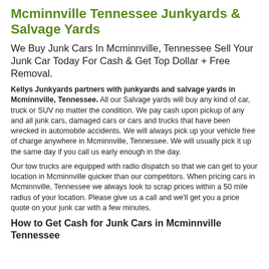Mcminnville Tennessee Junkyards & Salvage Yards
We Buy Junk Cars In Mcminnville, Tennessee Sell Your Junk Car Today For Cash & Get Top Dollar + Free Removal.
Kellys Junkyards partners with junkyards and salvage yards in Mcminnville, Tennessee. All our Salvage yards will buy any kind of car, truck or SUV no matter the condition. We pay cash upon pickup of any and all junk cars, damaged cars or cars and trucks that have been wrecked in automobile accidents. We will always pick up your vehicle free of charge anywhere in Mcminnville, Tennessee. We will usually pick it up the same day if you call us early enough in the day.
Our tow trucks are equipped with radio dispatch so that we can get to your location in Mcminnville quicker than our competitors. When pricing cars in Mcminnville, Tennessee we always look to scrap prices within a 50 mile radius of your location. Please give us a call and we'll get you a price quote on your junk car with a few minutes.
How to Get Cash for Junk Cars in Mcminnville Tennessee